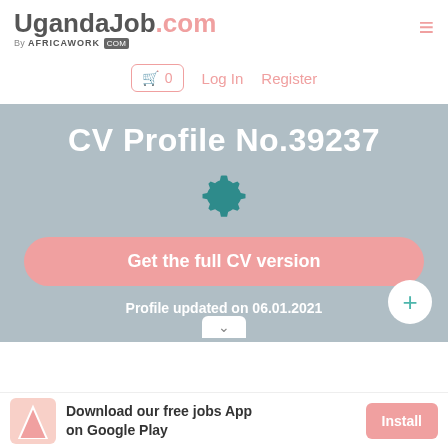UgandaJob.com — By AFRICAWORK .COM
🛒 0   Log In   Register
CV Profile No.39237
[Figure (illustration): Gear/settings icon in teal color]
Get the full CV version
Profile updated on 06.01.2021
Download our free jobs App on Google Play
Install